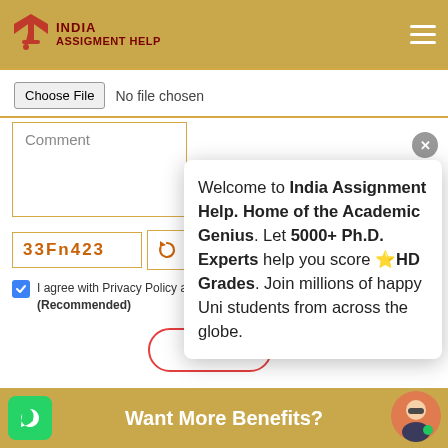[Figure (logo): India Assignment Help logo with graduation cap and pen icon, gold header background]
Choose File  No file chosen
Comment
33Fn423
I agree with Privacy Policy and (Recommended)
[Figure (screenshot): Tooltip popup: Welcome to India Assignment Help. Home of the Academic Genius. Let 5000+ Ph.D. Experts help you score ⭐HD Grades. Join millions of happy Uni students from across the globe.]
Want More Benefits?